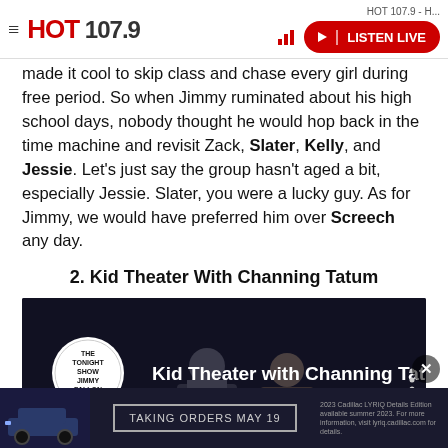HOT 107.9 - H...  [hamburger menu] [HOT 107.9 logo] [LISTEN LIVE button]
made it cool to skip class and chase every girl during free period. So when Jimmy ruminated about his high school days, nobody thought he would hop back in the time machine and revisit Zack, Slater, Kelly, and Jessie. Let’s just say the group hasn’t aged a bit, especially Jessie. Slater, you were a lucky guy. As for Jimmy, we would have preferred him over Screech any day.
2. Kid Theater With Channing Tatum
[Figure (screenshot): YouTube video thumbnail for 'Kid Theater with Channing Tatum' from The Tonight Show Starring Jimmy Fallon, showing two men (Channing Tatum and Jimmy Fallon) on stage reading papers]
Advertisement: TAKING ORDERS MAY 19 - 2023 Cadillac LYRIQ Details